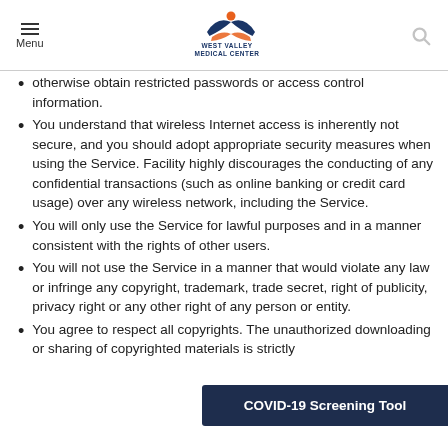Menu | West Valley Medical Center
otherwise obtain restricted passwords or access control information.
You understand that wireless Internet access is inherently not secure, and you should adopt appropriate security measures when using the Service. Facility highly discourages the conducting of any confidential transactions (such as online banking or credit card usage) over any wireless network, including the Service.
You will only use the Service for lawful purposes and in a manner consistent with the rights of other users.
You will not use the Service in a manner that would violate any law or infringe any copyright, trademark, trade secret, right of publicity, privacy right or any other right of any person or entity.
You agree to respect all copyrights. The unauthorized downloading or sharing of copyrighted materials is strictly
COVID-19 Screening Tool